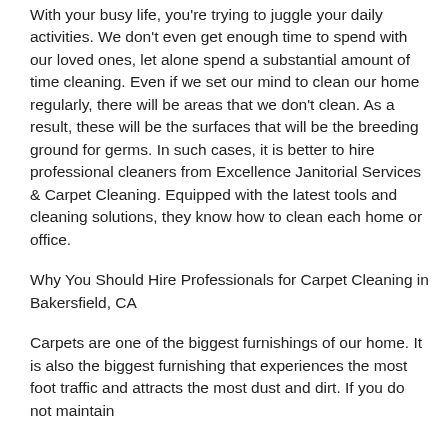With your busy life, you're trying to juggle your daily activities. We don't even get enough time to spend with our loved ones, let alone spend a substantial amount of time cleaning. Even if we set our mind to clean our home regularly, there will be areas that we don't clean. As a result, these will be the surfaces that will be the breeding ground for germs. In such cases, it is better to hire professional cleaners from Excellence Janitorial Services & Carpet Cleaning. Equipped with the latest tools and cleaning solutions, they know how to clean each home or office.
Why You Should Hire Professionals for Carpet Cleaning in Bakersfield, CA
Carpets are one of the biggest furnishings of our home. It is also the biggest furnishing that experiences the most foot traffic and attracts the most dust and dirt. If you do not maintain